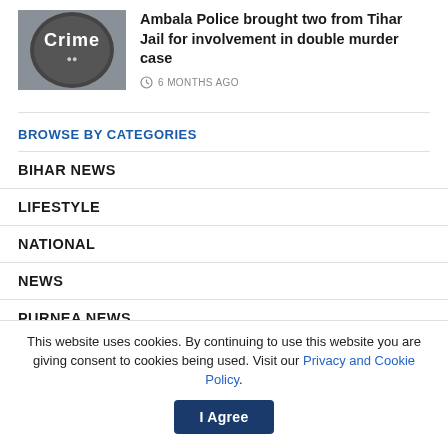[Figure (photo): Crime logo image - circular badge with 'Crime' text on dark background]
Ambala Police brought two from Tihar Jail for involvement in double murder case
6 MONTHS AGO
BROWSE BY CATEGORIES
BIHAR NEWS
LIFESTYLE
NATIONAL
NEWS
PURNEA NEWS
This website uses cookies. By continuing to use this website you are giving consent to cookies being used. Visit our Privacy and Cookie Policy.
I Agree